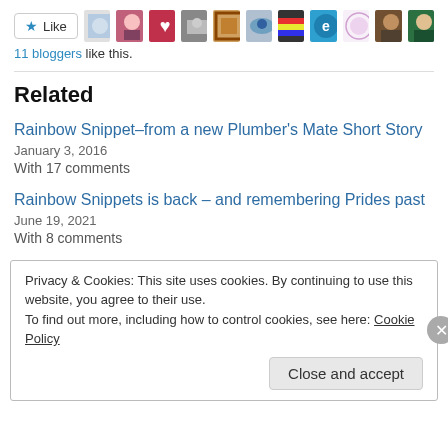[Figure (other): Like button with star icon and 11 blogger avatar thumbnails]
11 bloggers like this.
Related
Rainbow Snippet–from a new Plumber's Mate Short Story
January 3, 2016
With 17 comments
Rainbow Snippets is back – and remembering Prides past
June 19, 2021
With 8 comments
Privacy & Cookies: This site uses cookies. By continuing to use this website, you agree to their use.
To find out more, including how to control cookies, see here: Cookie Policy
Close and accept